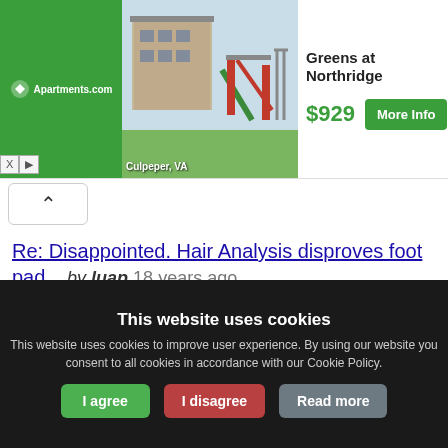[Figure (screenshot): Apartments.com advertisement banner showing Greens at Northridge in Culpeper, VA for $929 with More Info button and a playground photo]
Re: Disappointed. Hair Analysis disproves foot pad... by luap  18 years ago  1,669
Re: Disappointed. Hair Analysis disproves foot pad... by #33789  18 years ago  1,733
This website uses cookies
This website uses cookies to improve user experience. By using our website you consent to all cookies in accordance with our Cookie Policy.
I agree  I disagree  Read more